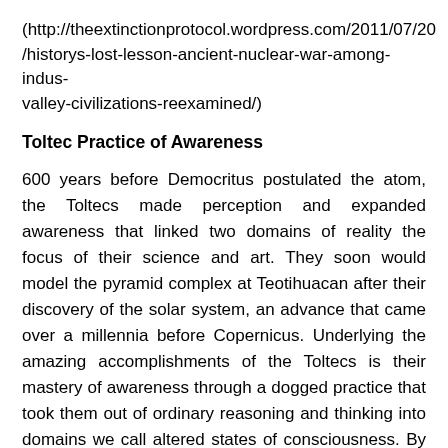(http://theextinctionprotocol.wordpress.com/2011/07/20/historys-lost-lesson-ancient-nuclear-war-among-indus-valley-civilizations-reexamined/)
Toltec Practice of Awareness
600 years before Democritus postulated the atom, the Toltecs made perception and expanded awareness that linked two domains of reality the focus of their science and art. They soon would model the pyramid complex at Teotihuacan after their discovery of the solar system, an advance that came over a millennia before Copernicus. Underlying the amazing accomplishments of the Toltecs is their mastery of awareness through a dogged practice that took them out of ordinary reasoning and thinking into domains we call altered states of consciousness. By stalking our usual states(illusory dreams we create) the Toltecs moved into dimensions far beyond the mainstream. My point here is that the Toltecs were early scientist/artists who know how to move from our